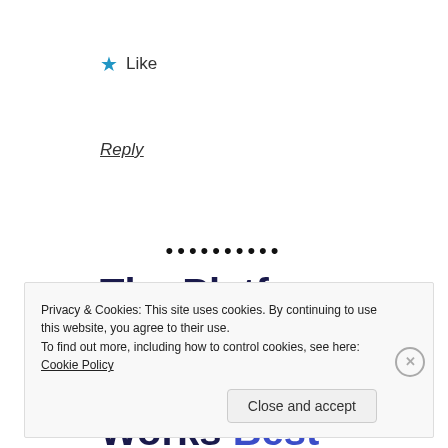★ Like
Reply
••••••••••
The Platform Where WordPress Works Best
Privacy & Cookies: This site uses cookies. By continuing to use this website, you agree to their use.
To find out more, including how to control cookies, see here: Cookie Policy
Close and accept